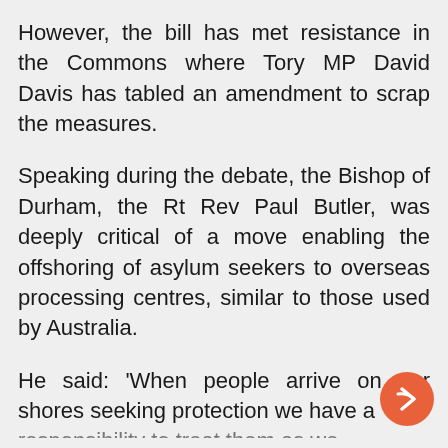However, the bill has met resistance in the Commons where Tory MP David Davis has tabled an amendment to scrap the measures.
Speaking during the debate, the Bishop of Durham, the Rt Rev Paul Butler, was deeply critical of a move enabling the offshoring of asylum seekers to overseas processing centres, similar to those used by Australia.
He said: 'When people arrive on our shores seeking protection we have a responsibility to treat them as we...